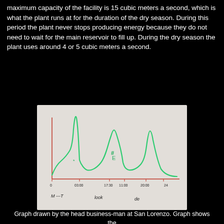maximum capacity of the facility is 15 cubic meters a second, which is what the plant runs at for the duration of the dry season.  During this period the plant never stops producing energy because they do not need to wait for the main reservoir to fill up.  During the dry season the plant uses around 4 or 5 cubic meters a second.
[Figure (other): Hand-drawn graph on paper showing energy production curve over time (hours), with x-axis labeled with time values (0, ~6, 17:30, 11:00, 20:00, 24) and annotations 'M—T', 'look', 'de'. The curve shows peaks and valleys drawn in green marker with a red x-axis line.]
Graph drawn by the head business-man at San Lorenzo.  Graph shows the